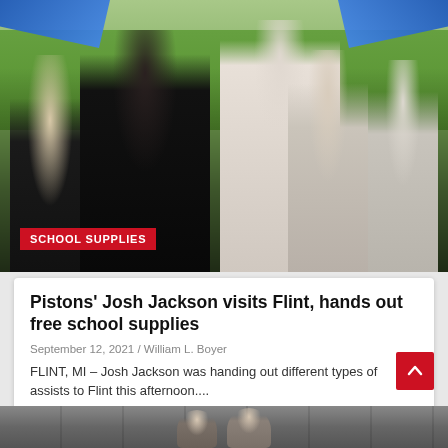[Figure (photo): Outdoor community event scene showing people interacting, with blue tent canopies visible. A woman with long dark hair reaches toward a man holding a small child. Other attendees in the background, trees and grass visible.]
SCHOOL SUPPLIES
Pistons' Josh Jackson visits Flint, hands out free school supplies
September 12, 2021 / William L. Boyer
FLINT, MI – Josh Jackson was handing out different types of assists to Flint this afternoon....
[Figure (photo): Two women sitting on steps outside a building with grey/dark panels.]